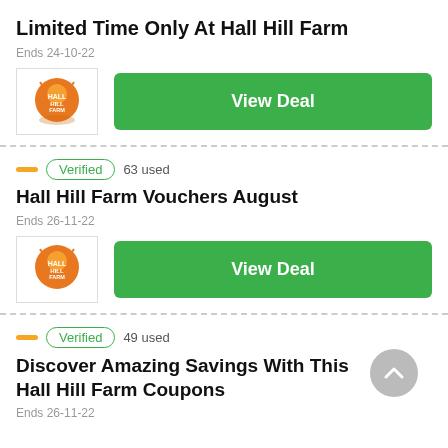Limited Time Only At Hall Hill Farm
Ends 24-10-22
View Deal
Verified  63 used
Hall Hill Farm Vouchers August
Ends 26-11-22
View Deal
Verified  49 used
Discover Amazing Savings With This Hall Hill Farm Coupons
Ends 26-11-22